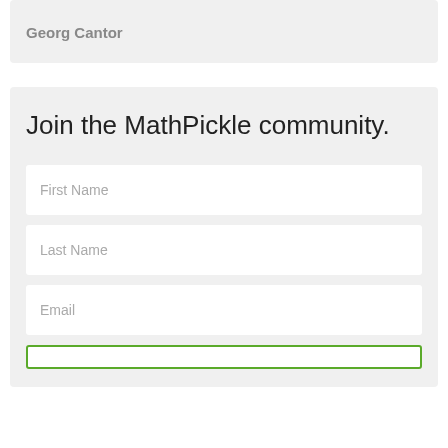Georg Cantor
Join the MathPickle community.
First Name
Last Name
Email